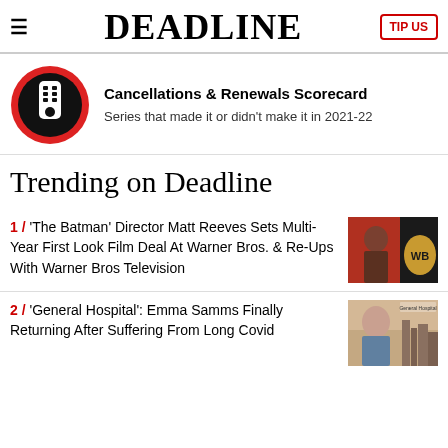DEADLINE
[Figure (logo): Red and black circular icon with a TV remote control]
Cancellations & Renewals Scorecard
Series that made it or didn't make it in 2021-22
Trending on Deadline
1 / 'The Batman' Director Matt Reeves Sets Multi-Year First Look Film Deal At Warner Bros. & Re-Ups With Warner Bros Television
[Figure (photo): Photo related to The Batman / Warner Bros, man with Batman logo]
2 / 'General Hospital': Emma Samms Finally Returning After Suffering From Long Covid
[Figure (photo): Photo of Emma Samms, General Hospital]